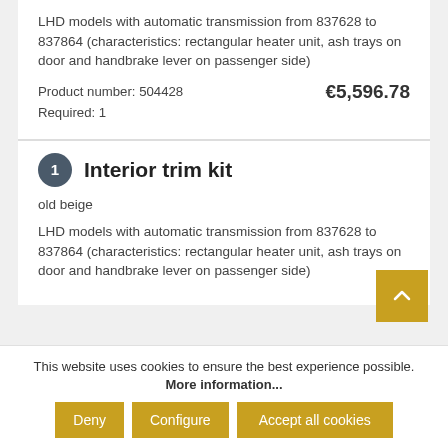LHD models with automatic transmission from 837628 to 837864 (characteristics: rectangular heater unit, ash trays on door and handbrake lever on passenger side)
Product number: 504428   €5,596.78
Required: 1
1  Interior trim kit
old beige
LHD models with automatic transmission from 837628 to 837864 (characteristics: rectangular heater unit, ash trays on door and handbrake lever on passenger side)
This website uses cookies to ensure the best experience possible.
More information...
Deny   Configure   Accept all cookies